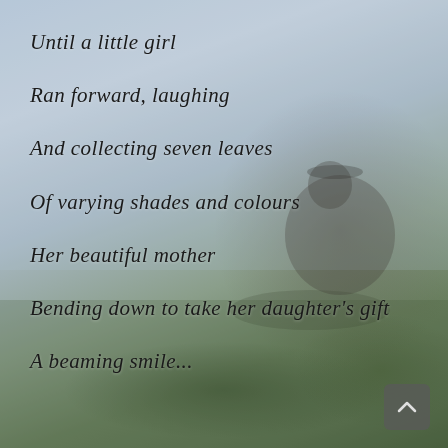[Figure (photo): A person (man) sitting outdoors on grass in a field, viewed from behind, wearing a dark jacket and cap, with a pale blue sky and flat landscape behind them.]
Until a little girl
Ran forward, laughing
And collecting seven leaves
Of varying shades and colours
Her beautiful mother
Bending down to take her daughter's gift
A beaming smile...